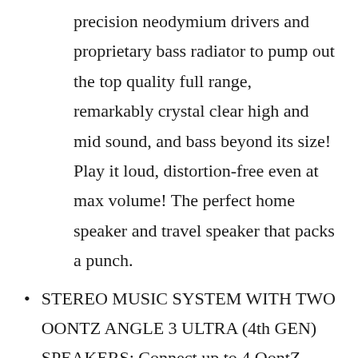precision neodymium drivers and proprietary bass radiator to pump out the top quality full range, remarkably crystal clear high and mid sound, and bass beyond its size! Play it loud, distortion-free even at max volume! The perfect home speaker and travel speaker that packs a punch.
STEREO MUSIC SYSTEM WITH TWO OONTZ ANGLE 3 ULTRA (4th GEN) SPEAKERS: Connect up to 4 OontZ Angle 3 ULTRA 4th Gen speakers together and play your music with incredible left and right stereo via OontZ app! PLAY YOUR MUSIC IN TWO DIFFERENT AREAS SIMULTANEOUSLY – Set the speakers to play in full stereo and place them in two different areas. NOTE: Speakers sold separately –